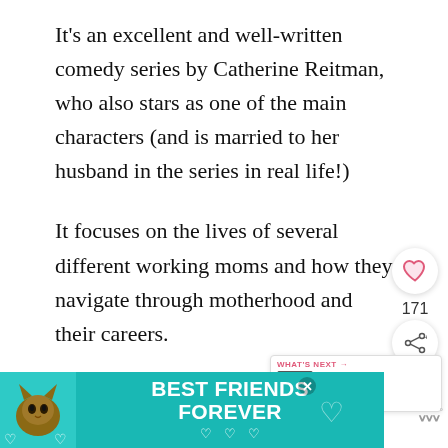It's an excellent and well-written comedy series by Catherine Reitman, who also stars as one of the main characters (and is married to her husband in the series in real life!)
It focuses on the lives of several different working moms and how they navigate through motherhood and their careers.
It's a CBC show and it's based in T… (whoop, whoop) so it's always cool hearing re… to familiar…
[Figure (other): Bottom advertisement banner with teal background showing a cat photo on the left, text BEST FRIENDS FOREVER in white bold font, heart icons, and a close button. A small logo appears to the right.]